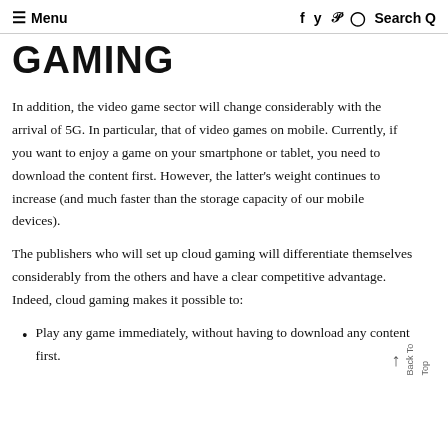≡ Menu  f  y  p  ◎  Search Q
GAMING
In addition, the video game sector will change considerably with the arrival of 5G. In particular, that of video games on mobile. Currently, if you want to enjoy a game on your smartphone or tablet, you need to download the content first. However, the latter's weight continues to increase (and much faster than the storage capacity of our mobile devices).
The publishers who will set up cloud gaming will differentiate themselves considerably from the others and have a clear competitive advantage. Indeed, cloud gaming makes it possible to:
Play any game immediately, without having to download any content first.